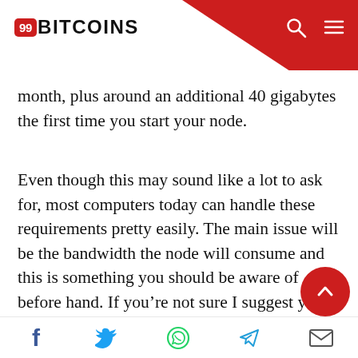99BITCOINS
month, plus around an additional 40 gigabytes the first time you start your node.
Even though this may sound like a lot to ask for, most computers today can handle these requirements pretty easily. The main issue will be the bandwidth the node will consume and this is something you should be aware of before hand. If you’re not sure I suggest you consult your Internet service provider.
If you don’t want to commit to these terms on your own computer you have two additional optio…
Social share icons: Facebook, Twitter, WhatsApp, Telegram, Email